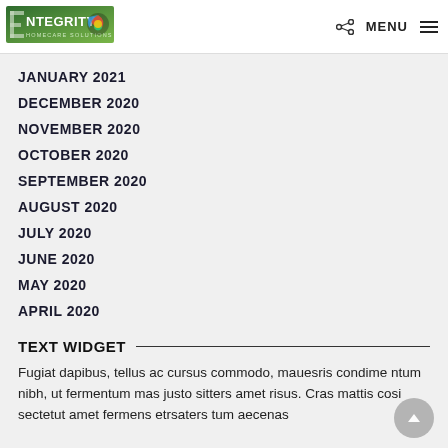NTEGRITY HOMECARE SOLUTIONS — MENU
JANUARY 2021
DECEMBER 2020
NOVEMBER 2020
OCTOBER 2020
SEPTEMBER 2020
AUGUST 2020
JULY 2020
JUNE 2020
MAY 2020
APRIL 2020
TEXT WIDGET
Fugiat dapibus, tellus ac cursus commodo, mauesris condime ntum nibh, ut fermentum mas justo sitters amet risus. Cras mattis cosi sectetut amet fermens etrsaters tum aecenas